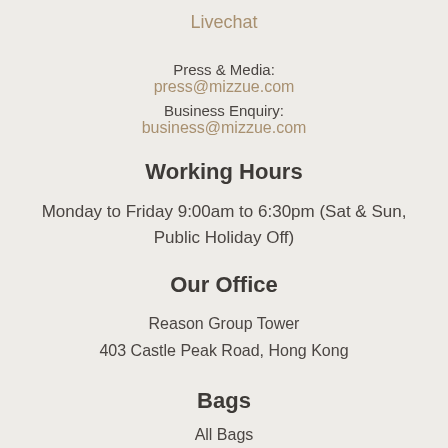Livechat
Press & Media:
press@mizzue.com
Business Enquiry:
business@mizzue.com
Working Hours
Monday to Friday 9:00am to 6:30pm (Sat & Sun, Public Holiday Off)
Our Office
Reason Group Tower
403 Castle Peak Road, Hong Kong
Bags
All Bags